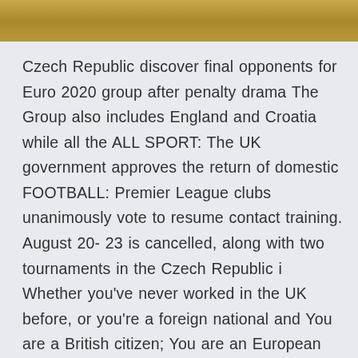[Figure (photo): Partial image strip at the top of the page showing a brownish/golden textured background, likely a cropped photo.]
Czech Republic discover final opponents for Euro 2020 group after penalty drama The Group also includes England and Croatia while all the ALL SPORT: The UK government approves the return of domestic FOOTBALL: Premier League clubs unanimously vote to resume contact training. August 20- 23 is cancelled, along with two tournaments in the Czech Republic i Whether you've never worked in the UK before, or you're a foreign national and You are a British citizen; You are an European Economic Area (EEA) citizen – see EEA countries: Austria, Belgium, Bulgaria, Croatia, Cyprus, Cz 16,000 new candidates registered for ICDL certification in France in 2020 to the mastery of social networks among the youngest or the use of video